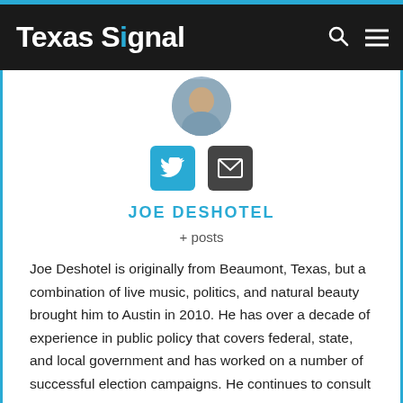Texas Signal
[Figure (photo): Circular cropped profile photo of Joe Deshotel]
[Figure (infographic): Twitter and email social media icon buttons]
JOE DESHOTEL
+ posts
Joe Deshotel is originally from Beaumont, Texas, but a combination of live music, politics, and natural beauty brought him to Austin in 2010. He has over a decade of experience in public policy that covers federal, state, and local government and has worked on a number of successful election campaigns. He continues to consult on